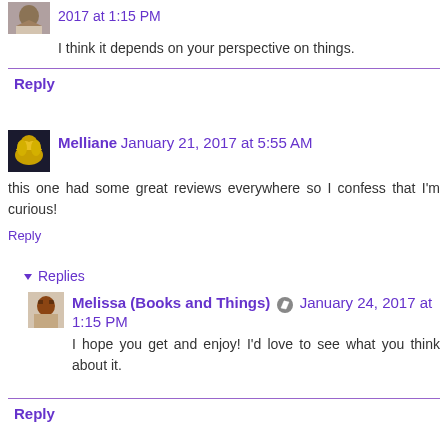2017 at 1:15 PM
I think it depends on your perspective on things.
Reply
Melliane  January 21, 2017 at 5:55 AM
this one had some great reviews everywhere so I confess that I'm curious!
Reply
Replies
Melissa (Books and Things)  January 24, 2017 at 1:15 PM
I hope you get and enjoy! I'd love to see what you think about it.
Reply